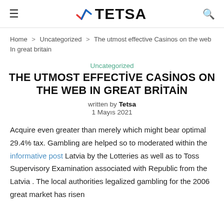≡  TETSA  🔍
Home > Uncategorized > The utmost effective Casinos on the web In great britain
Uncategorized
THE UTMOST EFFECTIVE CASİNOS ON THE WEB IN GREAT BRİTAİN
written by Tetsa
1 Mayıs 2021
Acquire even greater than merely which might bear optimal 29.4% tax. Gambling are helped so to moderated within the informative post Latvia by the Lotteries as well as to Toss Supervisory Examination associated with Republic from the Latvia . The local authorities legalized gambling for the 2006 great market has risen